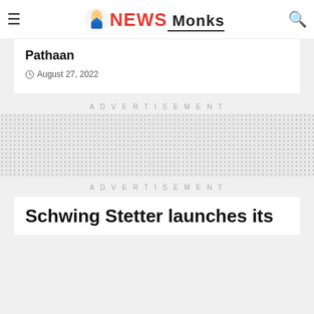NewsMonks
Pathaan
August 27, 2022
ADVERTISEMENT
ADVERTISEMENT
Schwing Stetter launches its